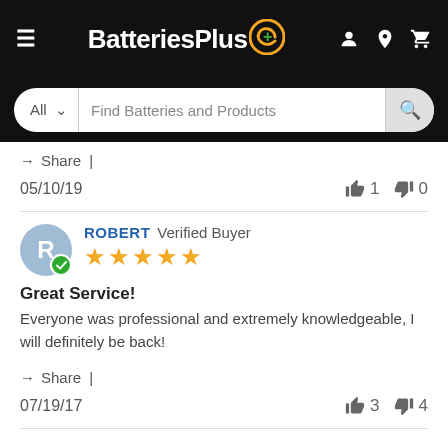[Figure (screenshot): BatteriesPlus website header with logo, hamburger menu, account, location, and cart icons]
[Figure (screenshot): Search bar with 'All' dropdown and 'Find Batteries and Products' placeholder, search button]
Share |
05/10/19    👍 1    👎 0
ROBERT Verified Buyer  ★★★★★  Great Service!  Everyone was professional and extremely knowledgeable, I will definitely be back!  Share |  07/19/17  👍 3  👎 4